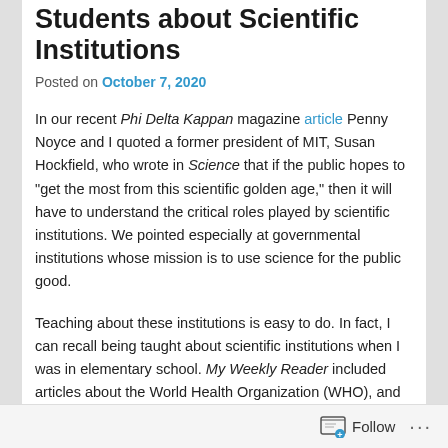Students about Scientific Institutions
Posted on October 7, 2020
In our recent Phi Delta Kappan magazine article Penny Noyce and I quoted a former president of MIT, Susan Hockfield, who wrote in Science that if the public hopes to “get the most from this scientific golden age,” then it will have to understand the critical roles played by scientific institutions. We pointed especially at governmental institutions whose mission is to use science for the public good.
Teaching about these institutions is easy to do. In fact, I can recall being taught about scientific institutions when I was in elementary school. My Weekly Reader included articles about the World Health Organization (WHO), and other scientific institutions, in language appropriate for young people. It still shocks me to realize that the Next
Follow ...